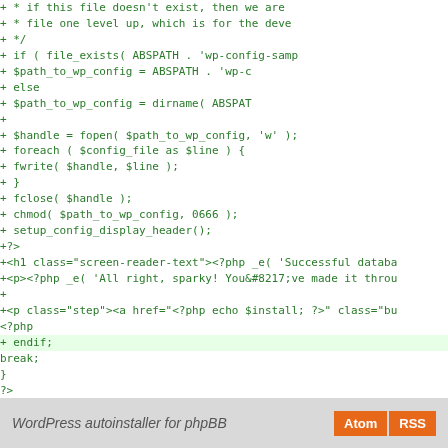Code diff showing PHP WordPress autoinstaller setup-config.php changes
WordPress autoinstaller for phpBB  Atom  RSS